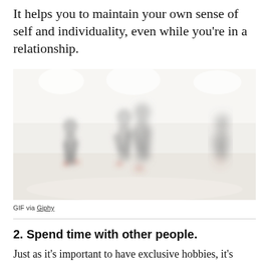It helps you to maintain your own sense of self and individuality, even while you're in a relationship.
[Figure (photo): Blurry/blurred image of people doing yoga or dance in a bright studio space with light-colored walls and floor.]
GIF via Giphy
2. Spend time with other people.
Just as it's important to have exclusive hobbies, it's also important to spend time with other people.